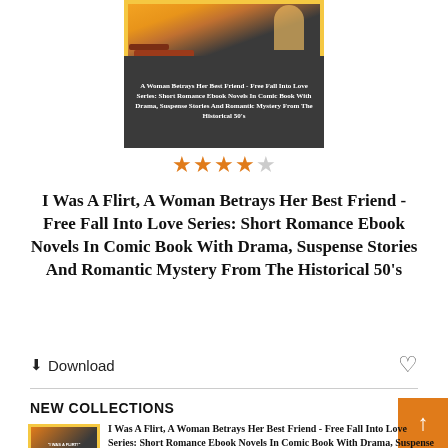[Figure (illustration): Book cover thumbnail with dark background and title text 'A Woman Betrays Her Best Friend - Free Fall Into Love Series: Short Romance Ebook Novels In Comic Book With Drama, Suspense Stories And Romantic Mystery From The Historical 50's']
[Figure (other): Star rating: 3.5 out of 5 stars, shown as orange/filled stars and grey empty stars]
I Was A Flirt, A Woman Betrays Her Best Friend - Free Fall Into Love Series: Short Romance Ebook Novels In Comic Book With Drama, Suspense Stories And Romantic Mystery From The Historical 50's
Download
NEW COLLECTIONS
[Figure (illustration): Small thumbnail of book cover for 'I Was A Flirt, A Woman Betrays Her Best Friend' with yellow border]
I Was A Flirt, A Woman Betrays Her Best Friend - Free Fall Into Love Series: Short Romance Ebook Novels In Comic Book With Drama, Suspense